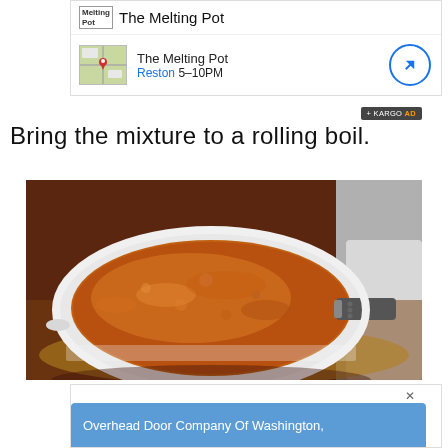[Figure (screenshot): Advertisement banner for The Melting Pot restaurant showing logo, name, map thumbnail with location pin, Reston 5-10PM hours, and a directions button circle icon]
Bring the mixture to a rolling boil.
[Figure (photo): A white ceramic pan or bowl containing a bubbling, boiling caramel-orange colored liquid mixture, sitting on a wooden surface with a cloth napkin visible in the background]
[Figure (screenshot): Bottom advertisement banner for Overhead Door Company Of Washington with blue background and close/arrow navigation buttons]